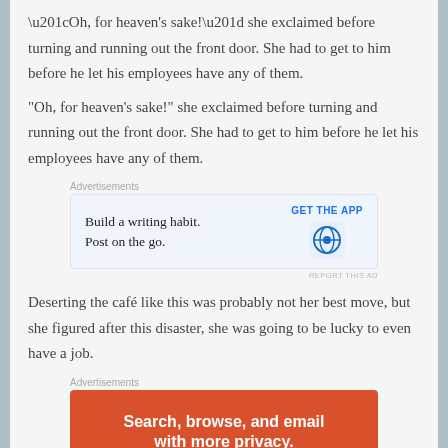“Oh, for heaven’s sake!” she exclaimed before turning and running out the front door. She had to get to him before he let his employees have any of them.
[Figure (other): WordPress advertisement: 'Build a writing habit. Post on the go.' with GET THE APP button and WordPress logo]
Deserting the café like this was probably not her best move, but she figured after this disaster, she was going to be lucky to even have a job.
[Figure (other): Advertisement with orange background: 'Search, browse, and email with more privacy. All in One Free App']